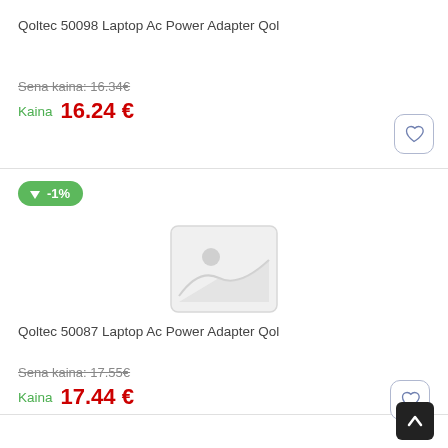Qoltec 50098 Laptop Ac Power Adapter Qol
Sena kaina: 16.34€
Kaina  16.24 €
[Figure (other): Discount badge showing -1%]
[Figure (photo): Placeholder image for product]
Qoltec 50087 Laptop Ac Power Adapter Qol
Sena kaina: 17.55€
Kaina  17.44 €